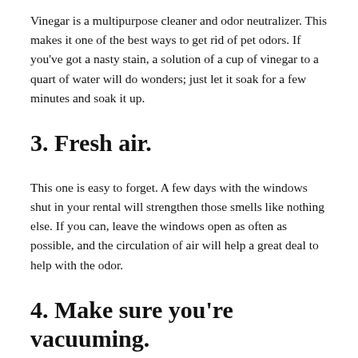Vinegar is a multipurpose cleaner and odor neutralizer. This makes it one of the best ways to get rid of pet odors. If you've got a nasty stain, a solution of a cup of vinegar to a quart of water will do wonders; just let it soak for a few minutes and soak it up.
3. Fresh air.
This one is easy to forget. A few days with the windows shut in your rental will strengthen those smells like nothing else. If you can, leave the windows open as often as possible, and the circulation of air will help a great deal to help with the odor.
4. Make sure you're vacuuming.
Your carpet will hide tons of hair and dander deep under the surface, and odors will radiate from there, so you want to make